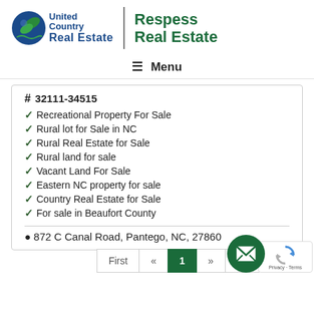[Figure (logo): United Country Real Estate | Respess Real Estate logo with globe icon and green/blue branding]
≡ Menu
# 32111-34515
✔Recreational Property For Sale
✔Rural lot for Sale in NC
✔Rural Real Estate for Sale
✔Rural land for sale
✔Vacant Land For Sale
✔Eastern NC property for sale
✔Country Real Estate for Sale
✔For sale in Beaufort County
📍 872 C Canal Road, Pantego, NC, 27860
First « 1 » La...